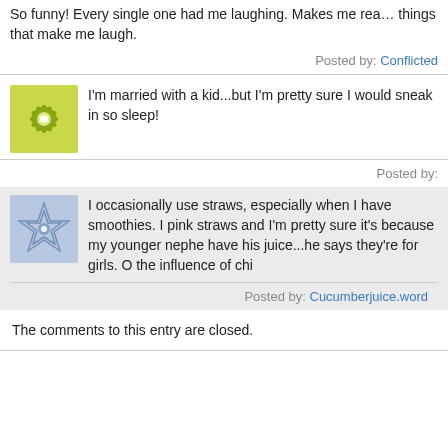So funny! Every single one had me laughing. Makes me realize things that make me laugh.
Posted by: Conflicted
[Figure (illustration): Green starburst/flower avatar icon]
I'm married with a kid...but I'm pretty sure I would sneak in so sleep!
Posted by:
[Figure (illustration): Blue geometric star pattern avatar icon]
I occasionally use straws, especially when I have smoothies. I pink straws and I'm pretty sure it's because my younger nephe have his juice...he says they're for girls. O the influence of chi
Posted by: Cucumberjuice.word
The comments to this entry are closed.